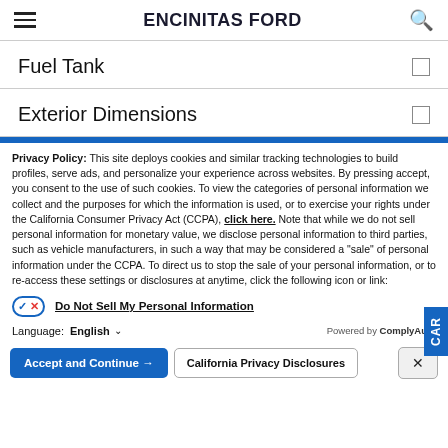ENCINITAS FORD
Fuel Tank
Exterior Dimensions
Privacy Policy: This site deploys cookies and similar tracking technologies to build profiles, serve ads, and personalize your experience across websites. By pressing accept, you consent to the use of such cookies. To view the categories of personal information we collect and the purposes for which the information is used, or to exercise your rights under the California Consumer Privacy Act (CCPA), click here. Note that while we do not sell personal information for monetary value, we disclose personal information to third parties, such as vehicle manufacturers, in such a way that may be considered a "sale" of personal information under the CCPA. To direct us to stop the sale of your personal information, or to re-access these settings or disclosures at anytime, click the following icon or link:
Do Not Sell My Personal Information
Language: English
Powered by ComplyAuto